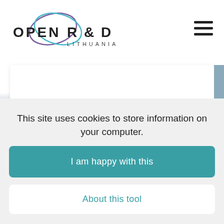[Figure (logo): Open R&D Lithuania logo with infinity-loop graphic in purple and teal, text OPEN R&D LITHUANIA]
[Figure (screenshot): Website screenshot showing partial text 'a rhythm that suits you.' on a white card over a blue/grey background, with a second partial card below]
This site uses cookies to store information on your computer.
I am happy with this
About this tool